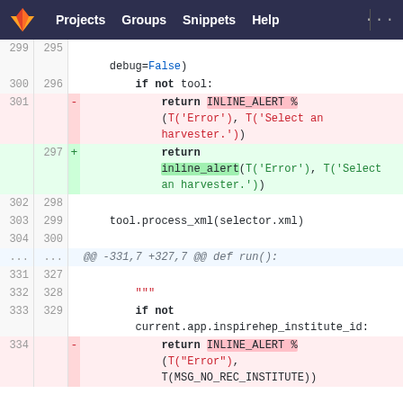GitLab navigation: Projects | Groups | Snippets | Help
[Figure (screenshot): GitLab diff view showing code changes: removal of INLINE_ALERT macro replaced with inline_alert function, and another removal of INLINE_ALERT macro at line 334]
debug=False)
    if not tool:
301 -  return INLINE_ALERT % (T('Error'), T('Select an harvester.'))
297 +  return inline_alert(T('Error'), T('Select an harvester.'))
302 298
303 299  tool.process_xml(selector.xml)
304 300
... ...  @@ -331,7 +327,7 @@ def run():
331 327
332 328    """
333 329    if not current.app.inspirehep_institute_id:
334 -   return INLINE_ALERT % (T("Error"), T(MSG_NO_REC_INSTITUTE))